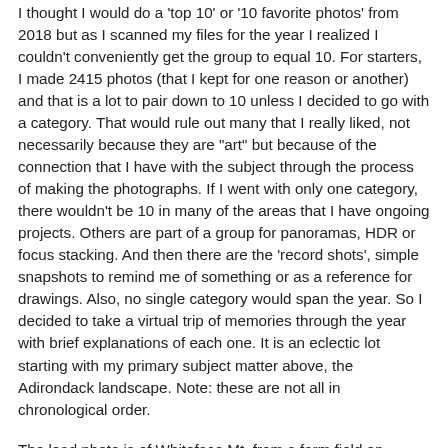I thought I would do a 'top 10' or '10 favorite photos' from 2018 but as I scanned my files for the year I realized I couldn't conveniently get the group to equal 10. For starters, I made 2415 photos (that I kept for one reason or another) and that is a lot to pair down to 10 unless I decided to go with a category. That would rule out many that I really liked, not necessarily because they are "art" but because of the connection that I have with the subject through the process of making the photographs. If I went with only one category, there wouldn't be 10 in many of the areas that I have ongoing projects. Others are part of a group for panoramas, HDR or focus stacking. And then there are the 'record shots', simple snapshots to remind me of something or as a reference for drawings. Also, no single category would span the year. So I decided to take a virtual trip of memories through the year with brief explanations of each one. It is an eclectic lot starting with my primary subject matter above, the Adirondack landscape. Note: these are not all in chronological order.
The lead photo is of Whiteface Mt. from a farm field on Norman Ridge. I hope the farmer doesn't mind and I certainly wouldn't have entered his field this year... Because I...